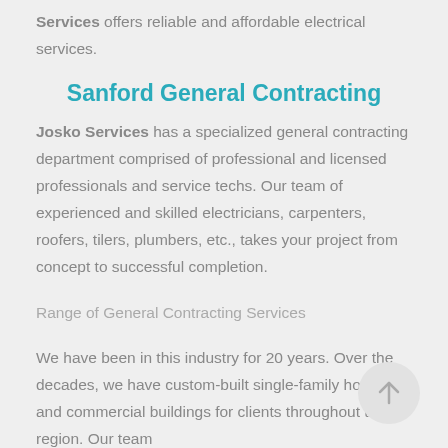Services offers reliable and affordable electrical services.
Sanford General Contracting
Josko Services has a specialized general contracting department comprised of professional and licensed professionals and service techs. Our team of experienced and skilled electricians, carpenters, roofers, tilers, plumbers, etc., takes your project from concept to successful completion.
Range of General Contracting Services
We have been in this industry for 20 years. Over the decades, we have custom-built single-family homes and commercial buildings for clients throughout the region. Our team